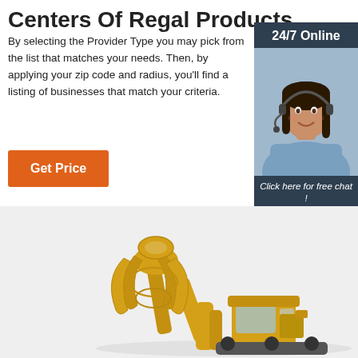Centers Of Regal Products
By selecting the Provider Type you may pick from the list that matches your needs. Then, by applying your zip code and radius, you'll find a listing of businesses that match your criteria.
Get Price
[Figure (photo): 24/7 Online chat widget with a woman wearing a headset smiling, with a 'Click here for free chat!' message and a QUOTATION button]
[Figure (photo): Yellow heavy machinery (loader/excavator) with grapple attachment on a light grey background]